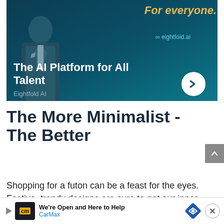[Figure (screenshot): Eightfold.ai advertisement banner with dark teal background. Shows a man in a suit on the left. Yellow italic text reads 'For everyone.' at top right. Eightfold.ai logo in teal. Large white bold text: 'The AI Platform for All Talent'. Subtext: 'Eightfold AI'. White circular chevron button on right.]
The More Minimalist - The Better
Shopping for a futon can be a feast for the eyes. Festive, trendy designs are sure to get our inner decor... Unfor... pers.
[Figure (screenshot): CarMax bottom advertisement banner. Dark logo with 'cm' on yellow. Text: 'We're Open and Here to Help' and 'CarMax'. Blue diamond navigation icon on right. X close button.]